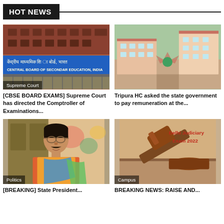HOT NEWS
[Figure (photo): CBSE Board sign - Central Board of Secondary Education, India building with blue sign]
Supreme Court
[CBSE BOARD EXAMS] Supreme Court has directed the Comptroller of Examinations...
[Figure (photo): Aerial view of a school/college campus building with red roofs]
Tripura HC asked the state government to pay remuneration at the...
[Figure (photo): Portrait of a middle-aged man with glasses wearing colorful traditional attire]
Politics
[BREAKING] State President...
[Figure (photo): Wooden judge's gavel with text Delhi Judiciary Exam 2022]
Campus
BREAKING NEWS: RAISE AND...